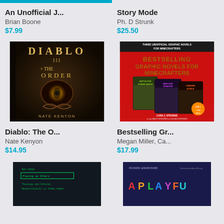[Figure (illustration): Book cover strip top - cyan bar]
An Unofficial J...
Brian Boone
$7.99
Story Mode
Ph. D Strunk
$25.50
[Figure (illustration): Diablo: The Order book cover - dark fantasy with glowing eye symbol]
[Figure (illustration): Bestselling Graphic Novels for Minecrafters - red cover showing three graphic novel books]
Diablo: The O...
Nate Kenyon
$14.95
Bestselling Gr...
Megan Miller, Ca...
$17.99
[Figure (illustration): Playing as Others: Theology and Ethical Responsibility in Video Games - dark cover with green text on terminal-style screen]
[Figure (illustration): A Playful Design book - dark blue cover with colorful letters spelling A Playful, by Richard Lemarchand]